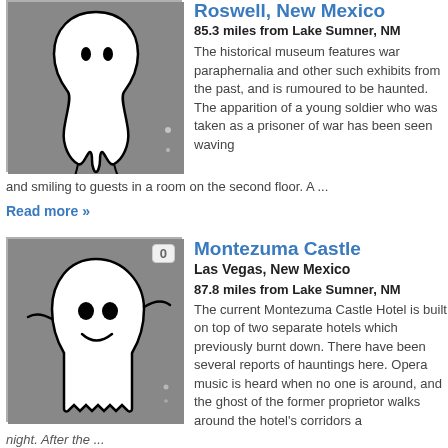Roswell, New Mexico
85.3 miles from Lake Sumner, NM
The historical museum features war paraphernalia and other such exhibits from the past, and is rumoured to be haunted. The apparition of a young soldier who was taken as a prisoner of war has been seen waving and smiling to guests in a room on the second floor. A ...
Read more »
Montezuma Castle
Las Vegas, New Mexico
87.8 miles from Lake Sumner, NM
The current Montezuma Castle Hotel is built on top of two separate hotels which previously burnt down. There have been several reports of hauntings here. Opera music is heard when no one is around, and the ghost of the former proprietor walks around the hotel's corridors at night. After the ...
Read more »